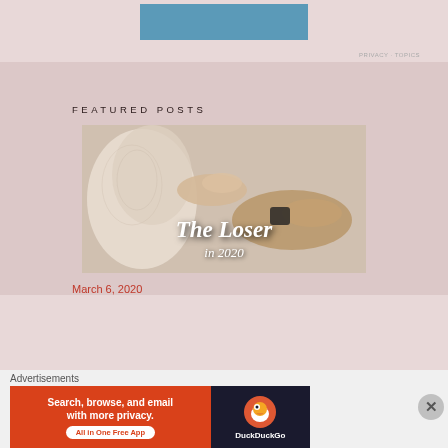[Figure (other): Blue rectangle banner at top center of page]
FEATURED POSTS
[Figure (photo): Photo of two hands touching, one wearing lace (wedding dress), the other with a black watch bracelet. Text overlay reads 'The Loser' in italic white script font.]
March 6, 2020
Advertisements
[Figure (screenshot): DuckDuckGo advertisement banner: 'Search, browse, and email with more privacy. All in One Free App' on red background with DuckDuckGo logo on dark background.]